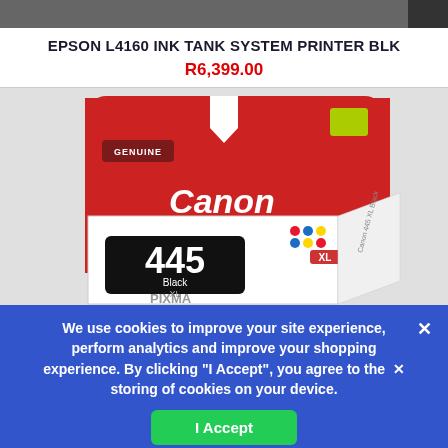[Figure (photo): Top portion of a product listing page showing a partially visible product image (dark/black item) at the top]
EPSON L4160 INK TANK SYSTEM PRINTER BLK
R6,399.00
[Figure (photo): Canon 445 XL Black ink cartridge box — red card packaging with Canon logo and '445 Black XL' label, white box base with FINE technology logo, PIXMA text at bottom]
We use cookies to improve your site experience, perform analytics and improve your shopping experience. By clicking "I Accept", you agree to the storing of cookies on your device.
I Accept